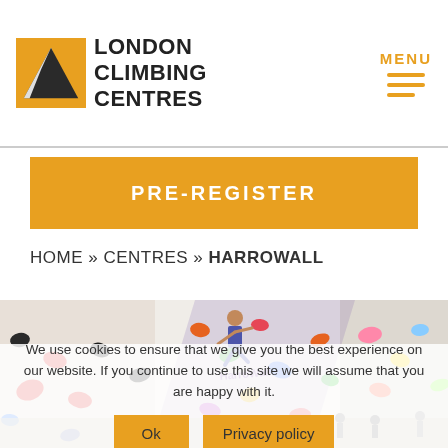[Figure (logo): London Climbing Centres logo with mountain/climber icon and bold uppercase text]
[Figure (illustration): Hamburger menu icon with MENU label in orange]
PRE-REGISTER
HOME » CENTRES » HARROWALL
[Figure (photo): Indoor bouldering climbing wall with colorful holds and climbers]
We use cookies to ensure that we give you the best experience on our website. If you continue to use this site we will assume that you are happy with it.
Ok    Privacy policy